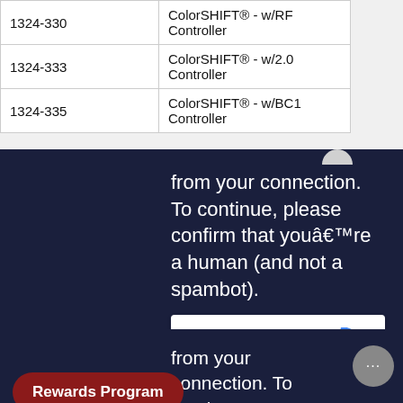| 1324-330 | ColorSHIFT® - w/RF Controller |
| 1324-333 | ColorSHIFT® - w/2.0 Controller |
| 1324-335 | ColorSHIFT® - w/BC1 Controller |
[Figure (screenshot): Dark navy background anti-bot verification screen with text 'from your connection. To continue, please confirm that youâ€™re a human (and not a spambot).' and a reCAPTCHA widget with checkbox 'I'm not a robot']
[Figure (screenshot): Second dark navy background anti-bot verification screen with same text partially visible, chat bubble overlay, and Rewards Program button at bottom left]